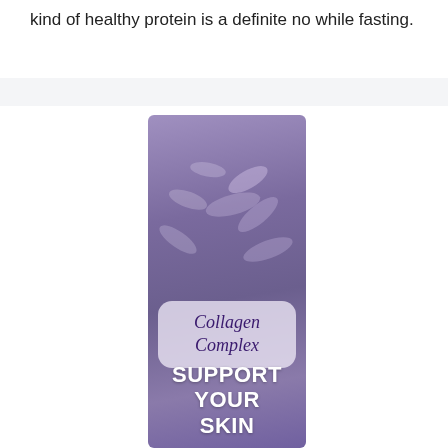kind of healthy protein is a definite no while fasting.
[Figure (photo): Advertisement image for Collagen Complex supplement product. Purple/violet background with blurred capsules/pills. A rounded rectangle label reads 'Collagen Complex' in italic script. Below that, bold white text reads 'SUPPORT YOUR SKIN'.]